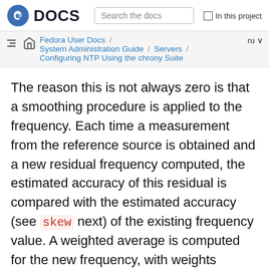DOCS | Search the docs | In this project
Fedora User Docs / System Administration Guide / Servers / Configuring NTP Using the chrony Suite | ru
The reason this is not always zero is that a smoothing procedure is applied to the frequency. Each time a measurement from the reference source is obtained and a new residual frequency computed, the estimated accuracy of this residual is compared with the estimated accuracy (see skew next) of the existing frequency value. A weighted average is computed for the new frequency, with weights depending on these accuracies. If the measurements from the reference source follow a consistent trend, the residual will be driven to zero over time.